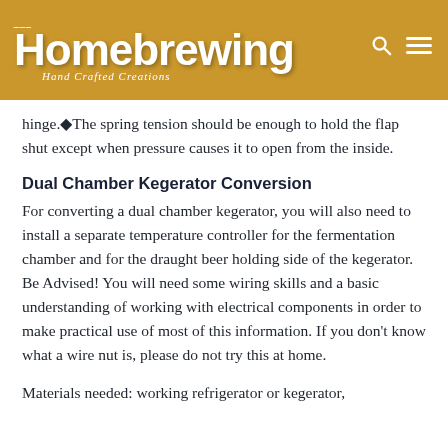Homebrewing Hand Crafted Creations
hinge.◆The spring tension should be enough to hold the flap shut except when pressure causes it to open from the inside.
Dual Chamber Kegerator Conversion
For converting a dual chamber kegerator, you will also need to install a separate temperature controller for the fermentation chamber and for the draught beer holding side of the kegerator. Be Advised! You will need some wiring skills and a basic understanding of working with electrical components in order to make practical use of most of this information. If you don't know what a wire nut is, please do not try this at home.
Materials needed: working refrigerator or kegerator,